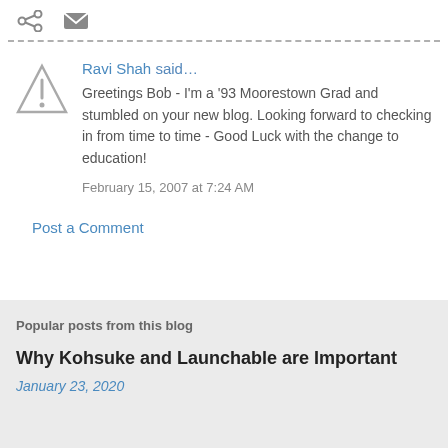[Figure (other): Share and mail icons at top]
Ravi Shah said…
Greetings Bob - I'm a '93 Moorestown Grad and stumbled on your new blog. Looking forward to checking in from time to time - Good Luck with the change to education!
February 15, 2007 at 7:24 AM
Post a Comment
Popular posts from this blog
Why Kohsuke and Launchable are Important
January 23, 2020